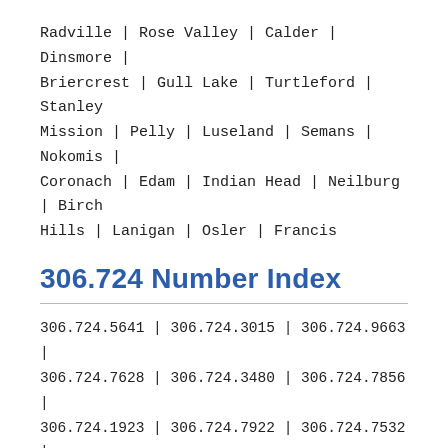Radville | Rose Valley | Calder | Dinsmore | Briercrest | Gull Lake | Turtleford | Stanley Mission | Pelly | Luseland | Semans | Nokomis | Coronach | Edam | Indian Head | Neilburg | Birch Hills | Lanigan | Osler | Francis
306.724 Number Index
306.724.5641 | 306.724.3015 | 306.724.9663 | 306.724.7628 | 306.724.3480 | 306.724.7856 | 306.724.1923 | 306.724.7922 | 306.724.7532 | 306.724.9317 | 306.724.3217 | 306.724.8550 | 306.724.9782 | 306.724.0423 | 306.724.8015 | 306.724.2828 | 306.724.4829 | 306.724.2835 | 306.724.5813 | 306.724.3584 | 306.724.6302 | 306.724.1427 | 306.724.1894 | 306.724.7260 | 306.724.2117 | 306.724.1041 | 306.724.0000